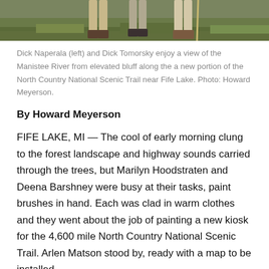[Figure (photo): Cropped bottom portion of a photo showing people standing on grassy ground near a river; only their legs and feet are visible.]
Dick Naperala (left) and Dick Tomorsky enjoy a view of the Manistee River from elevated bluff along the a new portion of the North Country National Scenic Trail near Fife Lake. Photo: Howard Meyerson.
By Howard Meyerson
FIFE LAKE, MI — The cool of early morning clung to the forest landscape and highway sounds carried through the trees, but Marilyn Hoodstraten and Deena Barshney were busy at their tasks, paint brushes in hand. Each was clad in warm clothes and they went about the job of painting a new kiosk for the 4,600 mile North Country National Scenic Trail. Arlen Matson stood by, ready with a map to be installed.